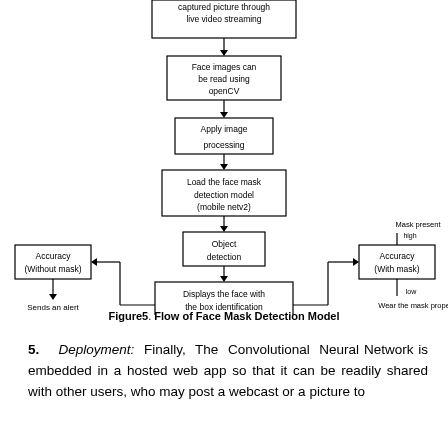[Figure (flowchart): Flow diagram of Face Mask Detection Model. Boxes connected by arrows: captured picture through live video streaming → Face images can be read using openCV → Apply image processing → Load the face mask detection model (mobile netv2) → Object detection → Displays the face with the box identification (Localization) → Show mask classification with the accuracy. From the Localization box, branches left to Accuracy (Without mask) and right to Accuracy (With mask). Left branch leads to 'Sends an alert' below. Right branch has 'Mask present' label above (high) and 'Wear the mask properly' (low) below.]
Figure5. Flow of Face Mask Detection Model
5.  Deployment:  Finally,  The  Convolutional  Neural Network is embedded in a hosted web app so that it can be readily shared with other users, who may post a webcast or a picture to